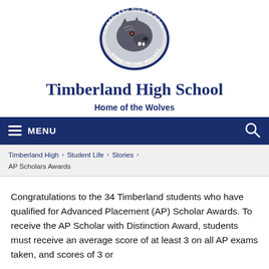[Figure (logo): Timberland High School logo — oval badge with a wolf mascot and text 'TIMBERLAND HIGH SCHOOL / HOME OF THE WOLVES']
Timberland High School
Home of the Wolves
MENU
Timberland High › Student Life › Stories › AP Scholars Awards
Congratulations to the 34 Timberland students who have qualified for Advanced Placement (AP) Scholar Awards. To receive the AP Scholar with Distinction Award, students must receive an average score of at least 3 on all AP exams taken, and scores of 3 or